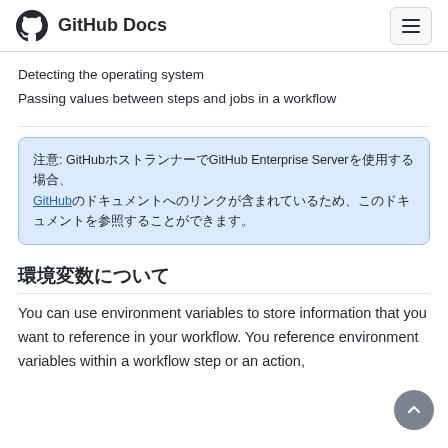GitHub Docs
Detecting the operating system
Passing values between steps and jobs in a workflow
注意: GitHubホストランナーでGitHub Enterprise Serverを使用する場合、GitHub上のドキュメントへのリンクが含まれているため、このドキュメントを参照することができます。
環境変数について
You can use environment variables to store information that you want to reference in your workflow. You reference environment variables within a workflow step or an action,